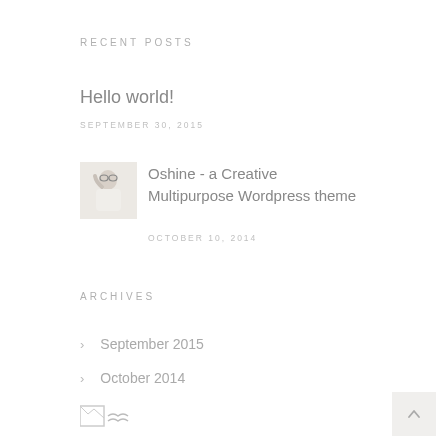RECENT POSTS
Hello world!
SEPTEMBER 30, 2015
[Figure (photo): Small thumbnail photo of a woman in white wearing sunglasses, posed with hand near face]
Oshine - a Creative Multipurpose Wordpress theme
OCTOBER 10, 2014
ARCHIVES
September 2015
October 2014
[Figure (logo): Small logo image at bottom left]
[Figure (other): Scroll-to-top button with upward chevron at bottom right]